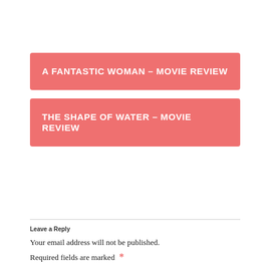A FANTASTIC WOMAN – MOVIE REVIEW
THE SHAPE OF WATER – MOVIE REVIEW
Leave a Reply
Your email address will not be published.
Required fields are marked *